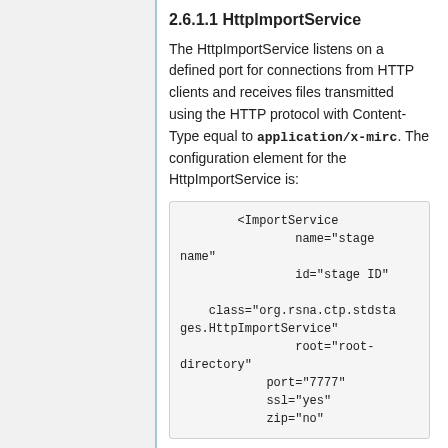2.6.1.1 HttpImportService
The HttpImportService listens on a defined port for connections from HTTP clients and receives files transmitted using the HTTP protocol with Content-Type equal to application/x-mirc. The configuration element for the HttpImportService is:
<ImportService
            name="stage name"
            id="stage ID"

    class="org.rsna.ctp.stdstages.HttpImportService"
            root="root-directory"
        port="7777"
        ssl="yes"
        zip="no"